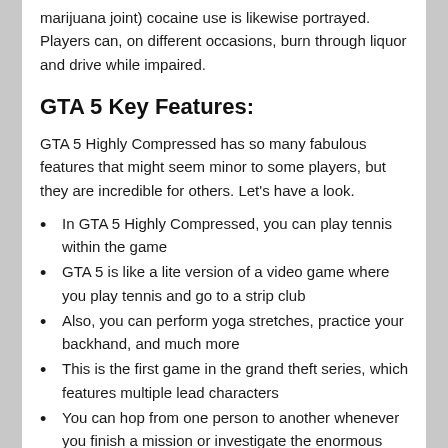marijuana joint) cocaine use is likewise portrayed. Players can, on different occasions, burn through liquor and drive while impaired.
GTA 5 Key Features:
GTA 5 Highly Compressed has so many fabulous features that might seem minor to some players, but they are incredible for others. Let's have a look.
In GTA 5 Highly Compressed, you can play tennis within the game
GTA 5 is like a lite version of a video game where you play tennis and go to a strip club
Also, you can perform yoga stretches, practice your backhand, and much more
This is the first game in the grand theft series, which features multiple lead characters
You can hop from one person to another whenever you finish a mission or investigate the enormous game world